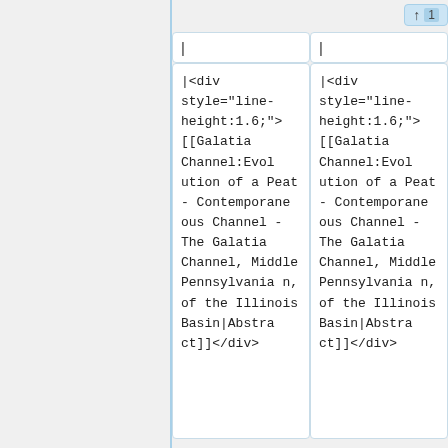| | | | |
| --- | --- |
| |<div style="line-height:1.6;">[[Galatia Channel:Evolution of a Peat - Contemporaneous Channel - The Galatia Channel, Middle Pennsylvanian, of the Illinois Basin|Abstract]]</div> | |<div style="line-height:1.6;">[[Galatia Channel:Evolution of a Peat - Contemporaneous Channel - The Galatia Channel, Middle Pennsylvanian, of the Illinois Basin|Abstract]]</div> |